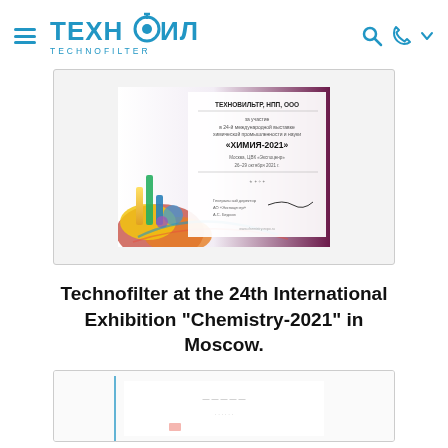ТЕХНОФИЛЬТР / TECHNOFILTER — navigation bar with hamburger menu, logo, search and phone icons
[Figure (photo): Certificate from the 24th International Exhibition 'Chemistry-2021' awarded to ТЕХНОВИЛЬТР, НПП, ООО, dated 26–29 October 2021, with colorful graphic design and signature.]
Technofilter at the 24th International Exhibition "Chemistry-2021" in Moscow.
[Figure (photo): Partial view of a second certificate or document image, partially visible at bottom of page.]